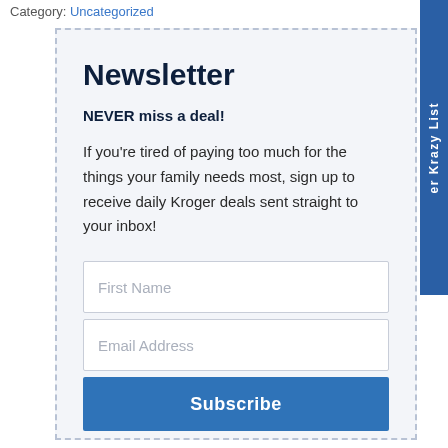Category: Uncategorized
Newsletter
NEVER miss a deal!
If you're tired of paying too much for the things your family needs most, sign up to receive daily Kroger deals sent straight to your inbox!
First Name
Email Address
Subscribe